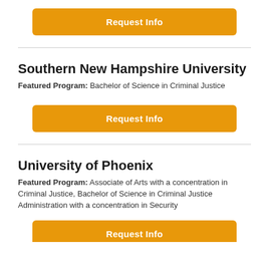Request Info
Southern New Hampshire University
Featured Program: Bachelor of Science in Criminal Justice
Request Info
University of Phoenix
Featured Program: Associate of Arts with a concentration in Criminal Justice, Bachelor of Science in Criminal Justice Administration with a concentration in Security
Request Info